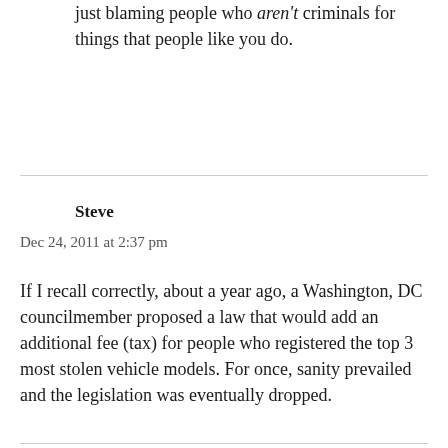just blaming people who aren't criminals for things that people like you do.
Steve
Dec 24, 2011 at 2:37 pm
If I recall correctly, about a year ago, a Washington, DC councilmember proposed a law that would add an additional fee (tax) for people who registered the top 3 most stolen vehicle models. For once, sanity prevailed and the legislation was eventually dropped.